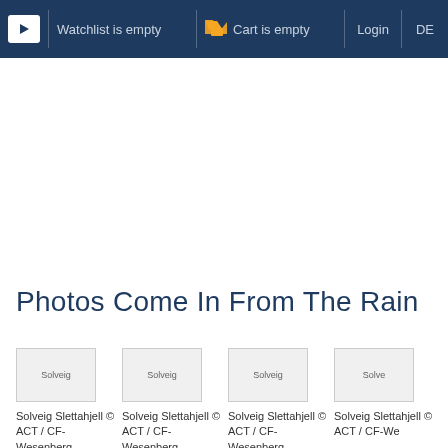▶ Watchlist is empty  🛒 Cart is empty  Login  DE
Photos Come In From The Rain
[Figure (screenshot): Product thumbnail placeholder: Solveig Slettahjell © ACT / CF-Wesenberg]
[Figure (screenshot): Product thumbnail placeholder: Solveig Slettahjell © ACT / CF-Wesenberg]
[Figure (screenshot): Product thumbnail placeholder: Solveig Slettahjell © ACT / CF-Wesenberg]
[Figure (screenshot): Product thumbnail placeholder: Solveig Slettahjell © ACT / CF-We]